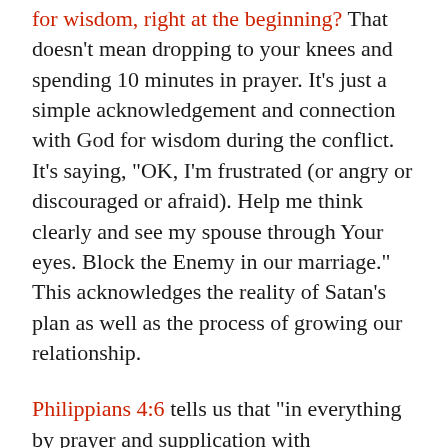for wisdom, right at the beginning? That doesn't mean dropping to your knees and spending 10 minutes in prayer. It's just a simple acknowledgement and connection with God for wisdom during the conflict. It's saying, "OK, I'm frustrated (or angry or discouraged or afraid). Help me think clearly and see my spouse through Your eyes. Block the Enemy in our marriage." This acknowledges the reality of Satan's plan as well as the process of growing our relationship.
Philippians 4:6 tells us that "in everything by prayer and supplication with thanksgiving let your requests be made known to God." The word "everything" is